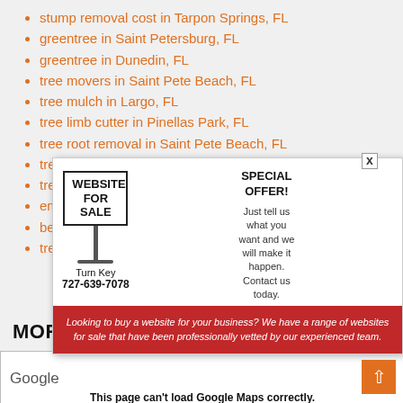stump removal cost in Tarpon Springs, FL
greentree in Saint Petersburg, FL
greentree in Dunedin, FL
tree movers in Saint Pete Beach, FL
tree mulch in Largo, FL
tree limb cutter in Pinellas Park, FL
tree root removal in Saint Pete Beach, FL
tree trimming cost in New Port Richey, FL
tree stump removal cost in Oldsmar, FL
eme... sa, FL
best ...
tree ...
MORE ... RY, FL
[Figure (screenshot): Google Maps embed area showing 'This page can't load Google Maps correctly.']
[Figure (infographic): Popup ad: WEBSITE FOR SALE sign graphic. Turn Key 727-639-7078. SPECIAL OFFER! Just tell us what you want and we will make it happen. Contact us today. Red section: Looking to buy a website for your business? We have a range of websites for sale that have been professionally vetted by our experienced team.]